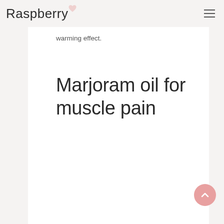Raspberry
warming effect.
Marjoram oil for muscle pain